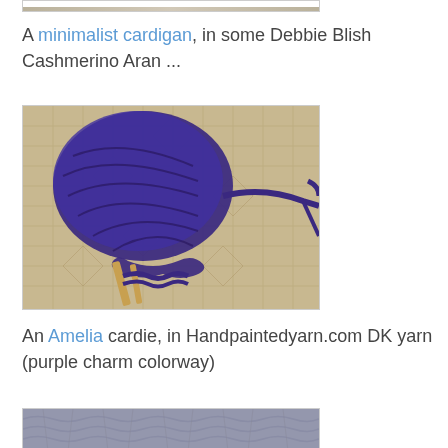[Figure (photo): Top portion of a knitting/yarn photo, partially visible at top of page]
A minimalist cardigan, in some Debbie Blish Cashmerino Aran ...
[Figure (photo): Purple yarn ball with knitting needles on a woven mat background]
An Amelia cardie, in Handpaintedyarn.com DK yarn (purple charm colorway)
[Figure (photo): Gray knitted fabric close-up, partially visible at bottom of page]